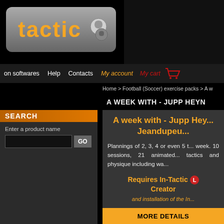tactic - sports software navigation site
on softwares  Help  Contacts  My account  My cart
Home > Football (Soccer) exercise packs > A w...
A WEEK WITH - JUPP HEYN...
A week with - Jupp Hey... Jeandupeu...
Plannings of 2, 3, 4 or even 5 t... week. 10 sessions, 21 animated... tactics and physique including wa...
Requires In-Tactic Creator
and installation of the In...
SEARCH
Enter a product name
MORE DETAILS